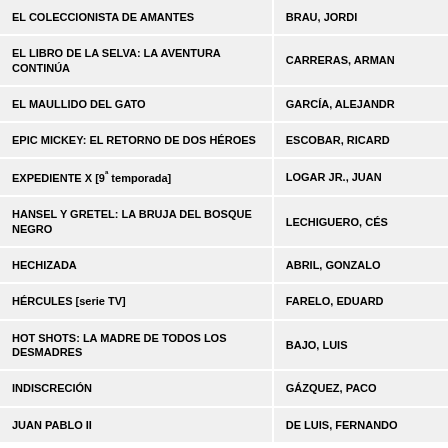| Title | Author |
| --- | --- |
| EL COLECCIONISTA DE AMANTES | BRAU, JORDI |
| EL LIBRO DE LA SELVA: LA AVENTURA CONTINÚA | CARRERAS, ARMAN... |
| EL MAULLIDO DEL GATO | GARCÍA, ALEJANDR... |
| EPIC MICKEY: EL RETORNO DE DOS HÉROES | ESCOBAR, RICARD... |
| EXPEDIENTE X [9ª temporada] | LOGAR JR., JUAN |
| HANSEL Y GRETEL: LA BRUJA DEL BOSQUE NEGRO | LECHIGUERO, CÉS... |
| HECHIZADA | ABRIL, GONZALO |
| HÉRCULES [serie TV] | FARELO, EDUARD |
| HOT SHOTS: LA MADRE DE TODOS LOS DESMADRES | BAJO, LUIS |
| INDISCRECIÓN | GÁZQUEZ, PACO |
| JUAN PABLO II | DE LUIS, FERNANDO... |